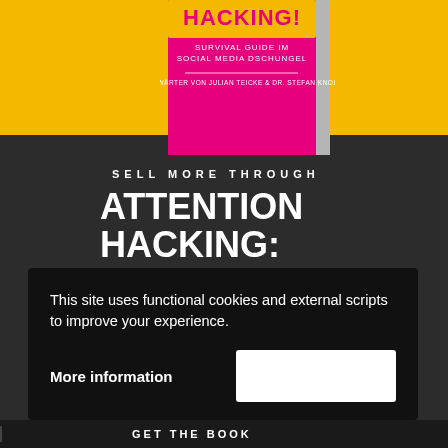[Figure (photo): Book cover for 'Attention Hacking: Survival Guide im Social Media Dschungel' with yellow background and pink/magenta cover. Text on cover: 'SURVIVAL GUIDE IM SOCIAL MEDIA DSCHUNGEL', 'FORWÄRTER VON JULIAN TEICKE & DR. STEFAN KNOLL']
SELL MORE THROUGH
ATTENTION HACKING: SURVIVAL GUIDE IN THE SOCIAL MEDIA JUNGLE
In this book we share very specific tools and tactics
This site uses functional cookies and external scripts to improve your experience.
More information
GET THE BOOK